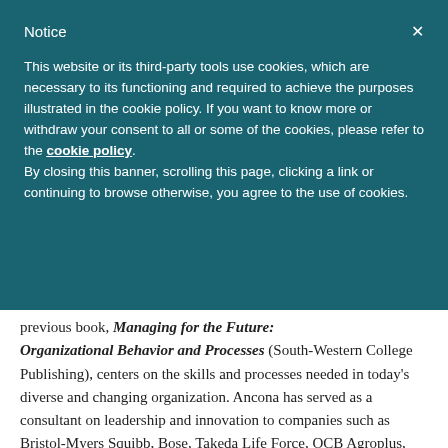Notice
This website or its third-party tools use cookies, which are necessary to its functioning and required to achieve the purposes illustrated in the cookie policy. If you want to know more or withdraw your consent to all or some of the cookies, please refer to the cookie policy.
By closing this banner, scrolling this page, clicking a link or continuing to browse otherwise, you agree to the use of cookies.
previous book, Managing for the Future: Organizational Behavior and Processes (South-Western College Publishing), centers on the skills and processes needed in today's diverse and changing organization. Ancona has served as a consultant on leadership and innovation to companies such as Bristol-Myers Squibb, Bose, Takeda Life Force, OCB Agroplus, ASA, and U...